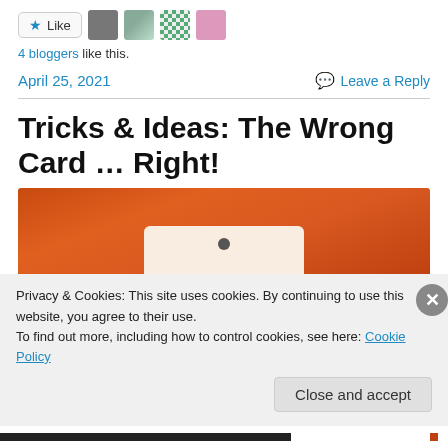[Figure (other): Like button with star icon and four blogger avatar thumbnails]
4 bloggers like this.
April 25, 2021   Leave a Reply
Tricks & Ideas: The Wrong Card … Right!
[Figure (photo): Photo of a card on an orange/rust-colored knit background]
Privacy & Cookies: This site uses cookies. By continuing to use this website, you agree to their use.
To find out more, including how to control cookies, see here: Cookie Policy
Close and accept